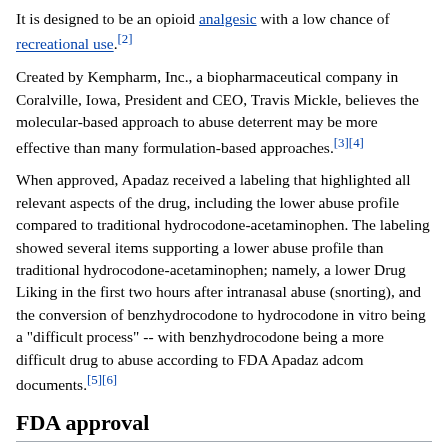It is designed to be an opioid analgesic with a low chance of recreational use.[2]
Created by Kempharm, Inc., a biopharmaceutical company in Coralville, Iowa, President and CEO, Travis Mickle, believes the molecular-based approach to abuse deterrent may be more effective than many formulation-based approaches.[3][4]
When approved, Apadaz received a labeling that highlighted all relevant aspects of the drug, including the lower abuse profile compared to traditional hydrocodone-acetaminophen. The labeling showed several items supporting a lower abuse profile than traditional hydrocodone-acetaminophen; namely, a lower Drug Liking in the first two hours after intranasal abuse (snorting), and the conversion of benzhydrocodone to hydrocodone in vitro being a "difficult process" -- with benzhydrocodone being a more difficult drug to abuse according to FDA Apadaz adcom documents.[5][6]
FDA approval
The Food and Drug Administration approved benzhydrocodone and acetaminophen (Apadaz) for the short-term (no more than 14 days) management of acute pain severe enough to require an